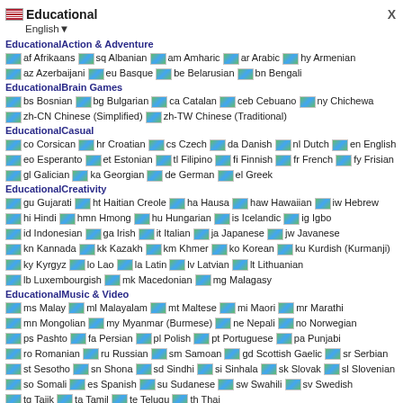Educational
English▼
EducationalAction & Adventure
af Afrikaans sq Albanian am Amharic ar Arabic hy Armenian az Azerbaijani eu Basque be Belarusian bn Bengali
EducationalBrain Games
bs Bosnian bg Bulgarian ca Catalan ceb Cebuano ny Chichewa zh-CN Chinese (Simplified) zh-TW Chinese (Traditional)
EducationalCasual
co Corsican hr Croatian cs Czech da Danish nl Dutch en English eo Esperanto et Estonian tl Filipino fi Finnish fr French fy Frisian gl Galician ka Georgian de German el Greek
EducationalCreativity
gu Gujarati ht Haitian Creole ha Hausa haw Hawaiian iw Hebrew hi Hindi hmn Hmong hu Hungarian is Icelandic ig Igbo id Indonesian ga Irish it Italian ja Japanese jw Javanese kn Kannada kk Kazakh km Khmer ko Korean ku Kurdish (Kurmanji) ky Kyrgyz lo Lao la Latin lv Latvian lt Lithuanian lb Luxembourgish mk Macedonian mg Malagasy
EducationalMusic & Video
ms Malay ml Malayalam mt Maltese mi Maori mr Marathi mn Mongolian my Myanmar (Burmese) ne Nepali no Norwegian ps Pashto fa Persian pl Polish pt Portuguese pa Punjabi ro Romanian ru Russian sm Samoan gd Scottish Gaelic sr Serbian st Sesotho sn Shona sd Sindhi si Sinhala sk Slovak sl Slovenian so Somali es Spanish su Sudanese sw Swahili sv Swedish tg Tajik ta Tamil te Telugu th Thai
EducationalPretend Play
EducationalMathematicsCasual
EducationalMathematicsCasu
EducationalEducation
ur Urdu uz Uzbek vi Vietnamese
entertainmentAction & Adventure